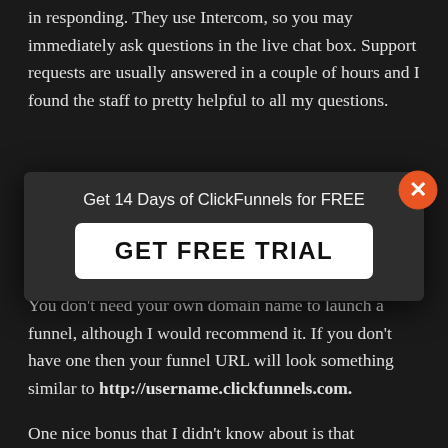in responding. They use Intercom, so you may immediately ask questions in the live chat box. Support requests are usually answered in a couple of hours and I found the staff to pretty helpful to all my questions.
Do I need my own domain name? Clickfunnels Case Study,
[Figure (other): Modal popup overlay with text 'Get 14 Days of ClickFunnels for FREE' and a white 'GET FREE TRIAL' button, with an orange X close button in the top right corner.]
You don't need your own domain name to launch a funnel, although I would recommend it. If you don't have one then your funnel URL will look something similar to http://username.clickfunnels.com.
One nice bonus that I didn't know about is that